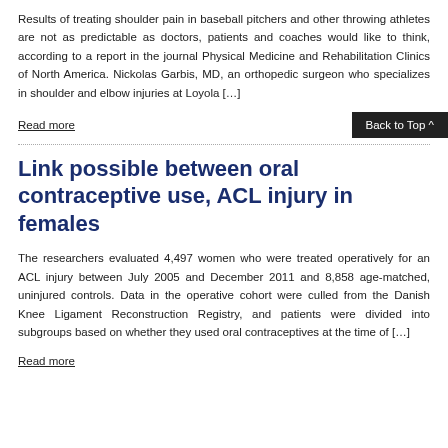Results of treating shoulder pain in baseball pitchers and other throwing athletes are not as predictable as doctors, patients and coaches would like to think, according to a report in the journal Physical Medicine and Rehabilitation Clinics of North America. Nickolas Garbis, MD, an orthopedic surgeon who specializes in shoulder and elbow injuries at Loyola […]
Read more
Back to Top ^
Link possible between oral contraceptive use, ACL injury in females
The researchers evaluated 4,497 women who were treated operatively for an ACL injury between July 2005 and December 2011 and 8,858 age-matched, uninjured controls. Data in the operative cohort were culled from the Danish Knee Ligament Reconstruction Registry, and patients were divided into subgroups based on whether they used oral contraceptives at the time of […]
Read more